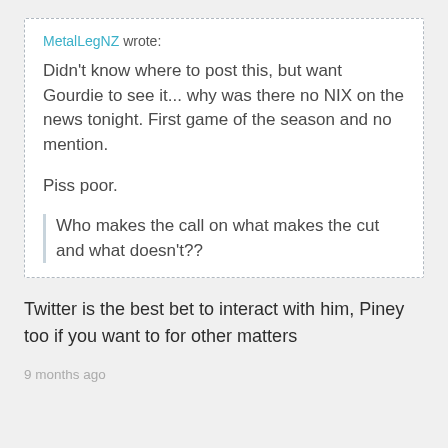MetalLegNZ wrote: Didn't know where to post this, but want Gourdie to see it... why was there no NIX on the news tonight. First game of the season and no mention.

Piss poor.

Who makes the call on what makes the cut and what doesn't??
Twitter is the best bet to interact with him, Piney too if you want to for other matters
9 months ago